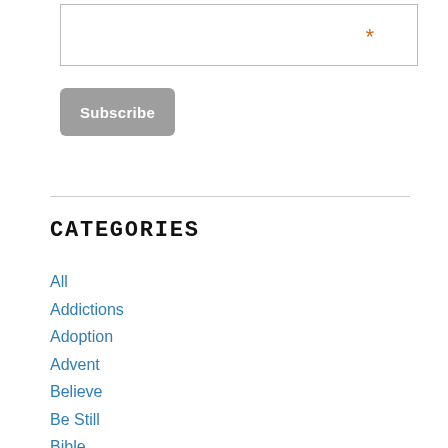[Figure (other): Email input field with orange asterisk required marker]
Subscribe
All
Addictions
Adoption
Advent
Believe
Be Still
Bible
Birthday
Bold
Celebrate Recovery